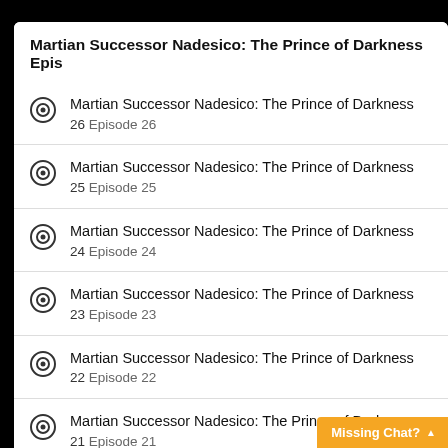Martian Successor Nadesico: The Prince of Darkness Epis…
Martian Successor Nadesico: The Prince of Darkness
26  Episode 26
Martian Successor Nadesico: The Prince of Darkness
25  Episode 25
Martian Successor Nadesico: The Prince of Darkness
24  Episode 24
Martian Successor Nadesico: The Prince of Darkness
23  Episode 23
Martian Successor Nadesico: The Prince of Darkness
22  Episode 22
Martian Successor Nadesico: The Prince of Darkness
21  Episode 21
Martian Successor Nadesico: The Prince of Darkness
20  Episode 20